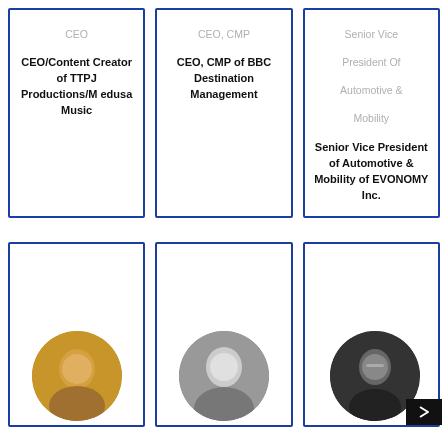CEO
CEO/Content Creator of TTPJ Productions/Medusa Music
CEO, CMP
CEO, CMP of BBC Destination Management
Senior Vice
President Of
Automotive &
Mobility
Senior Vice President of Automotive & Mobility of EVONOMY Inc.
[Figure (photo): Circular portrait photo of a woman with blonde hair, smiling]
[Figure (photo): Circular black and white portrait photo of a woman in business attire]
[Figure (photo): Circular portrait photo of a man with glasses on dark background with play button overlay]